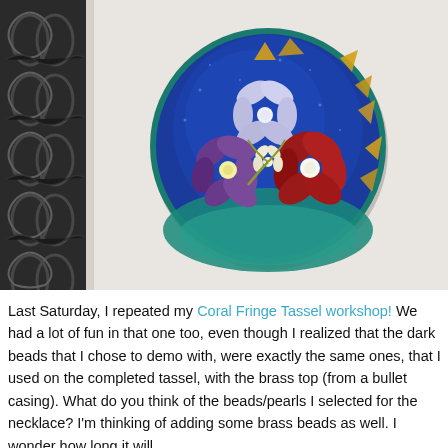[Figure (photo): A circular decorative medallion/pendant with a deep cobalt blue resin background. Pressed flowers are embedded within: a pale lavender/white flower at top center, a purple flower at left, a red flower at right, and small white flowers in the center. Gold leaf triangular flakes are scattered across the blue background. The medallion is sitting on a white/cream fabric surface. To the left is a dark black and white patterned fabric with a scrolling/floral damask design.]
Last Saturday, I repeated my Coral Fringe Tassel workshop! We had a lot of fun in that one too, even though I realized that the dark beads that I chose to demo with, were exactly the same ones, that I used on the completed tassel, with the brass top (from a bullet casing). What do you think of the beads/pearls I selected for the necklace? I'm thinking of adding some brass beads as well. I wonder how long it will